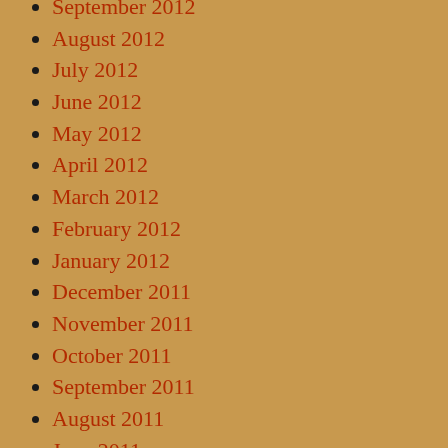September 2012
August 2012
July 2012
June 2012
May 2012
April 2012
March 2012
February 2012
January 2012
December 2011
November 2011
October 2011
September 2011
August 2011
June 2011
March 2011
February 2011